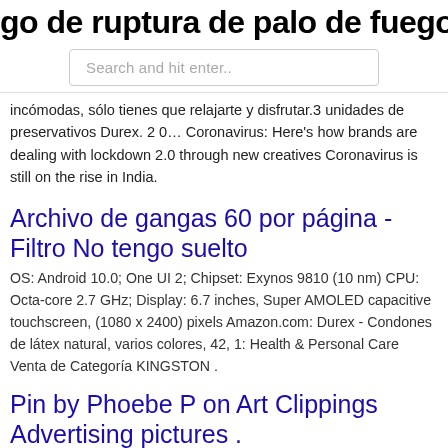go de ruptura de palo de fuego de an
[Figure (screenshot): Search bar with placeholder text 'Search and hit enter..']
incómodas, sólo tienes que relajarte y disfrutar.3 unidades de preservativos Durex. 2 0… Coronavirus: Here's how brands are dealing with lockdown 2.0 through new creatives Coronavirus is still on the rise in India.
Archivo de gangas 60 por página - Filtro No tengo suelto
OS: Android 10.0; One UI 2; Chipset: Exynos 9810 (10 nm) CPU: Octa-core 2.7 GHz; Display: 6.7 inches, Super AMOLED capacitive touchscreen, (1080 x 2400) pixels Amazon.com: Durex - Condones de látex natural, varios colores, 42, 1: Health & Personal Care Venta de Categoría KINGSTON .
Pin by Phoebe P on Art Clippings Advertising pictures .
Results for : durex tv ad. 17,428 videos. Culiando duro con tv